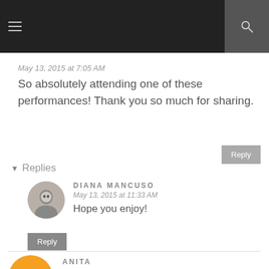Navigation header bar
May 13, 2015 at 7:05 AM
So absolutely attending one of these performances! Thank you so much for sharing.
Replies
DIANA MANCUSO
May 13, 2015 at 11:33 AM
Hope you enjoy!
ANITA
May 13, 2015 at 7:51 AM